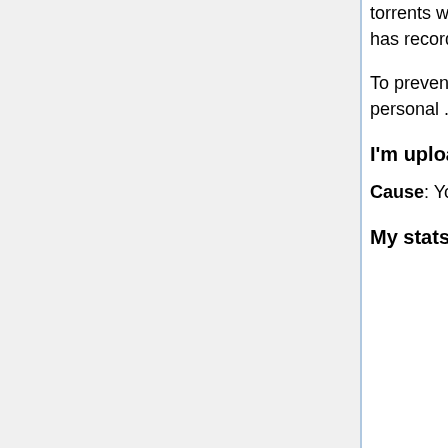torrents will become invalid immediately, so you will have to re-download your torrents. Wait about 10-20 minutes to be sure the tracker has recorded your key change before resuming your torrenting.
To prevent similar issues occurring in future, do not hot-link to our torrent files (only link to the description page), and do not post your personal .torrent file (the one you download when logged in) to other trackers.
I'm uploading or downloading some torrents but I don't see them on my userpage
Cause: You downloaded a public torrent. Solution: Log in and re-download the torrent.
My stats are not updating. What can I